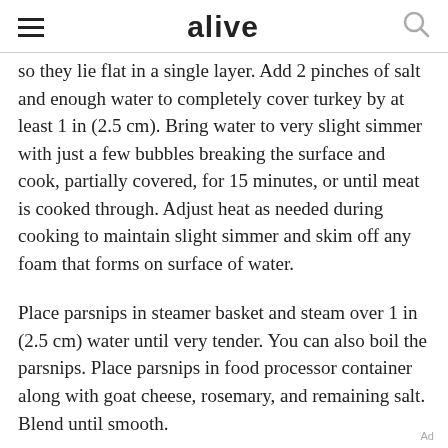alive
so they lie flat in a single layer. Add 2 pinches of salt and enough water to completely cover turkey by at least 1 in (2.5 cm). Bring water to very slight simmer with just a few bubbles breaking the surface and cook, partially covered, for 15 minutes, or until meat is cooked through. Adjust heat as needed during cooking to maintain slight simmer and skim off any foam that forms on surface of water.
Place parsnips in steamer basket and steam over 1 in (2.5 cm) water until very tender. You can also boil the parsnips. Place parsnips in food processor container along with goat cheese, rosemary, and remaining salt. Blend until smooth.
Ad